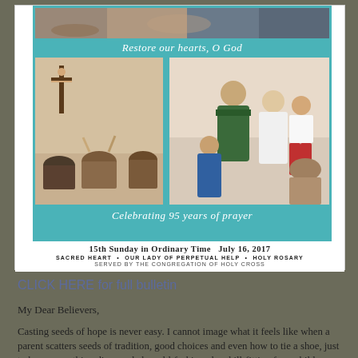[Figure (photo): Church bulletin cover image with teal background showing parish photos, text 'Restore our hearts, O God' and 'Celebrating 95 years of prayer'. Below: '15th Sunday in Ordinary Time  July 16, 2017', 'SACRED HEART • OUR LADY OF PERPETUAL HELP • HOLY ROSARY', 'SERVED BY THE CONGREGATION OF HOLY CROSS']
CLICK HERE for full bulletin
My Dear Believers,
Casting seeds of hope is never easy. I cannot image what it feels like when a parent scatters seeds of tradition, good choices and even how to tie a shoe, just to have everything disregarded as old-fashioned and ill-fitting for a child today. I cannot image what it is like for a wife to desire a husband